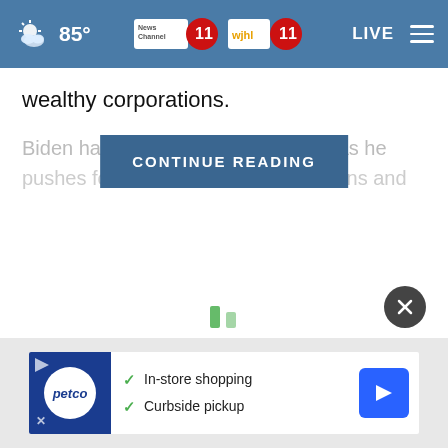85° News Channel 11 WJHL 11 LIVE
wealthy corporations.
Biden has freq... foil as he pushes for hi... moricans and
[Figure (screenshot): CONTINUE READING button overlay]
[Figure (infographic): Loading spinner - two green vertical bars]
[Figure (infographic): Dark circular close button with X]
[Figure (infographic): Petco advertisement banner: In-store shopping, Curbside pickup]